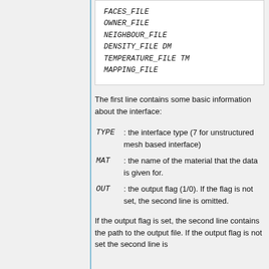FACES_FILE
OWNER_FILE
NEIGHBOUR_FILE
DENSITY_FILE DM
TEMPERATURE_FILE TM
MAPPING_FILE
The first line contains some basic information about the interface:
TYPE : the interface type (7 for unstructured mesh based interface)
MAT : the name of the material that the data is given for.
OUT : the output flag (1/0). If the flag is not set, the second line is omitted.
If the output flag is set, the second line contains the path to the output file. If the output flag is not set the second line is